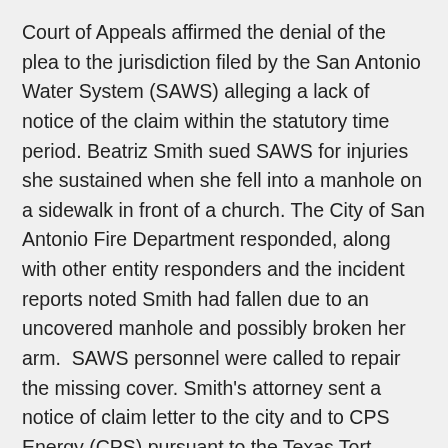Court of Appeals affirmed the denial of the plea to the jurisdiction filed by the San Antonio Water System (SAWS) alleging a lack of notice of the claim within the statutory time period. Beatriz Smith sued SAWS for injuries she sustained when she fell into a manhole on a sidewalk in front of a church. The City of San Antonio Fire Department responded, along with other entity responders and the incident reports noted Smith had fallen due to an uncovered manhole and possibly broken her arm.  SAWS personnel were called to repair the missing cover. Smith's attorney sent a notice of claim letter to the city and to CPS Energy (CPS) pursuant to the Texas Tort Claims Act but did not provide one to SAWS. When Smith sued, she sued the city, CPS, SAWS and the church. SAWS filed a plea to the jurisdiction asserting it did not receive the statutory notice